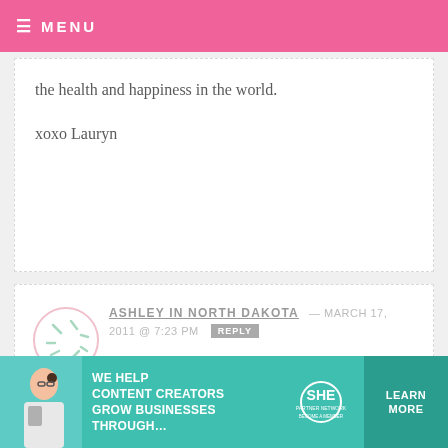MENU
the health and happiness in the world.
xoxo Lauryn
ASHLEY IN NORTH DAKOTA — MARCH 17, 2011 @ 7:23 PM REPLY
Wonderful news!
ELIZABETHK — MARCH 17, 2011 @ 7:14 PM REPLY
[Figure (infographic): SHE Media Partner Network advertisement banner with woman, headline 'WE HELP CONTENT CREATORS GROW BUSINESSES THROUGH...' and LEARN MORE button]